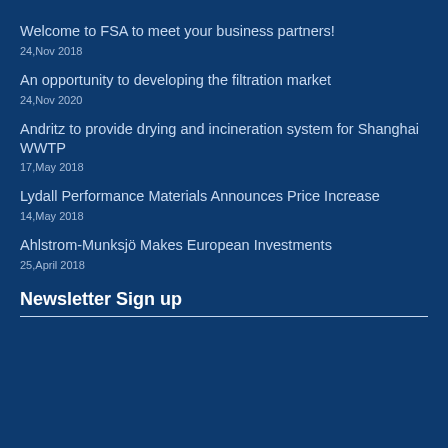Welcome to FSA to meet your business partners!
24,Nov 2018
An opportunity to developing the filtration market
24,Nov 2020
Andritz to provide drying and incineration system for Shanghai WWTP
17,May 2018
Lydall Performance Materials Announces Price Increase
14,May 2018
Ahlstrom-Munksjö Makes European Investments
25,April 2018
Newsletter Sign up